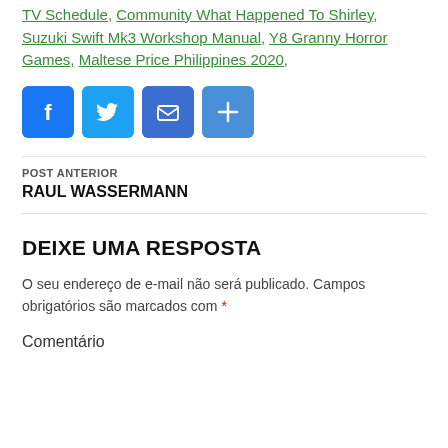TV Schedule, Community What Happened To Shirley, Suzuki Swift Mk3 Workshop Manual, Y8 Granny Horror Games, Maltese Price Philippines 2020,
[Figure (infographic): Social share buttons: Facebook (blue), Twitter (blue), Email (blue), Share/plus (blue)]
POST ANTERIOR
RAUL WASSERMANN
DEIXE UMA RESPOSTA
O seu endereço de e-mail não será publicado. Campos obrigatórios são marcados com *
Comentário